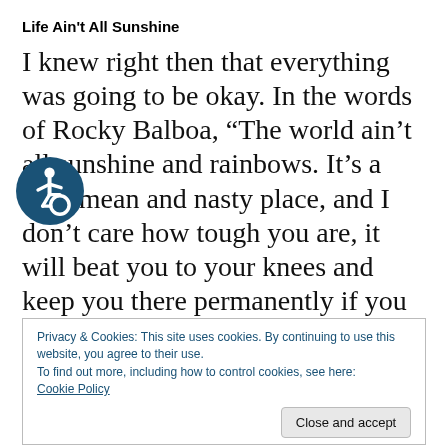Life Ain’t All Sunshine
I knew right then that everything was going to be okay. In the words of Rocky Balboa, “The world ain’t all sunshine and rainbows. It’s a very mean and nasty place, and I don’t care how tough you are, it will beat you to your knees and keep you there permanently if you let it. It is not how hard you hit it is how hard you can get hit and keep moving forward” I
[Figure (illustration): Blue circular accessibility/wheelchair icon]
Privacy & Cookies: This site uses cookies. By continuing to use this website, you agree to their use.
To find out more, including how to control cookies, see here:
Cookie Policy
I cannot control what life throws at me.